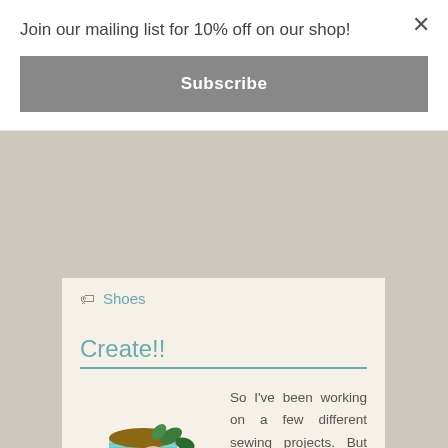Join our mailing list for 10% off on our shop!
Subscribe
Shoes
Create!!
[Figure (logo): Logo image of a spool of teal thread with a pink rose and green leaves, with the name KIM below it in decorative text]
So I've been working on a few different sewing projects. But they haven't been coming out like I hope. So I have stepped away from my sewing projects…for now. I'm the type of person who can't sew if I'm frustrated. I